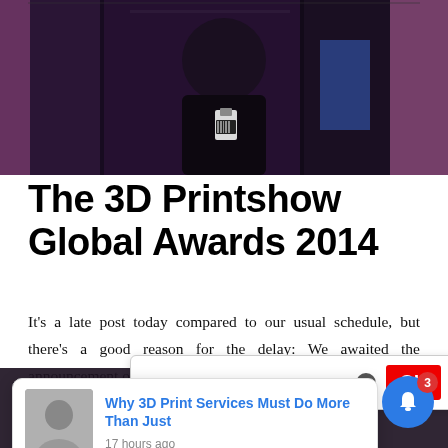[Figure (photo): Dark event photo showing a person at what appears to be a 3D printing show or conference, with pink and dark background tones.]
The 3D Printshow Global Awards 2014
It’s a late post today compared to our usual schedule, but there’s a good reason for the delay: We awaited the announcement of the win
We use cookies and other techniqu…
Why 3D Print Services Must Do More Than Just
17 hours ago
Categorized as Event